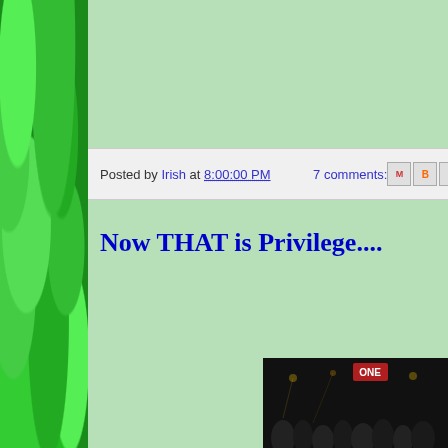[Figure (illustration): Green shamrock/clover tile pattern decorating the left sidebar of a blog page]
Posted by Irish at 8:00:00 PM    7 comments:
Now THAT is Privilege....
[Figure (photo): Partial photo of a nighttime crowd scene, dark background with venue signage visible at bottom right of page]